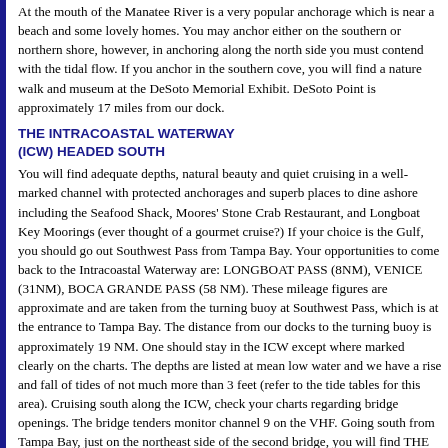At the mouth of the Manatee River is a very popular anchorage which is near a beach and some lovely homes. You may anchor either on the southern or northern shore, however, in anchoring along the north side you must contend with the tidal flow. If you anchor in the southern cove, you will find a nature walk and museum at the DeSoto Memorial Exhibit. DeSoto Point is approximately 17 miles from our dock.
THE INTRACOASTAL WATERWAY (ICW) HEADED SOUTH
You will find adequate depths, natural beauty and quiet cruising in a well-marked channel with protected anchorages and superb places to dine ashore including the Seafood Shack, Moores' Stone Crab Restaurant, and Longboat Key Moorings (ever thought of a gourmet cruise?) If your choice is the Gulf, you should go out Southwest Pass from Tampa Bay. Your opportunities to come back to the Intracoastal Waterway are: LONGBOAT PASS (8NM), VENICE (31NM), BOCA GRANDE PASS (58 NM). These mileage figures are approximate and are taken from the turning buoy at Southwest Pass, which is at the entrance to Tampa Bay. The distance from our docks to the turning buoy is approximately 19 NM. One should stay in the ICW except where marked clearly on the charts. The depths are listed at mean low water and we have a rise and fall of tides of not much more than 3 feet (refer to the tide tables for this area). Cruising south along the ICW, check your charts regarding bridge openings. The bridge tenders monitor channel 9 on the VHF. Going south from Tampa Bay, just on the northeast side of the second bridge, you will find THE SEAFOOD SHACK A good restaurant with downstairs bar, they also offer overnight transient docking.
MOORE'S STONE CRAB RESTAURANT
Just south of Longboat Pass, try not to miss this spot! You may tie up for